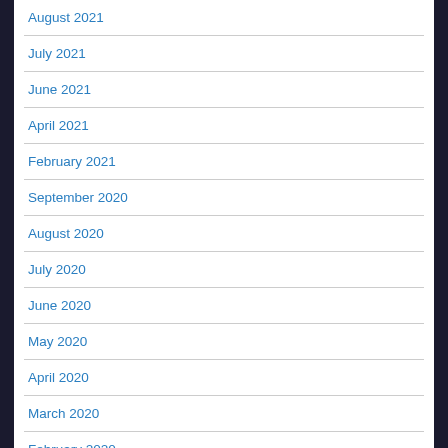August 2021
July 2021
June 2021
April 2021
February 2021
September 2020
August 2020
July 2020
June 2020
May 2020
April 2020
March 2020
February 2020
January 2020
November 2019
October 2019